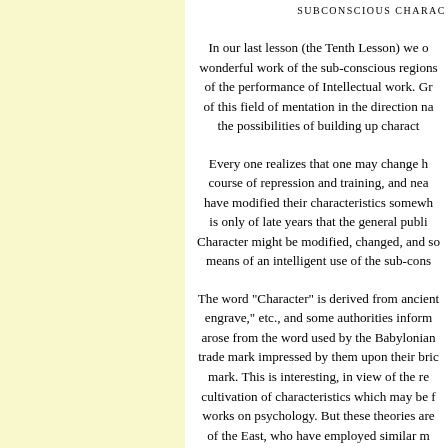SUBCONSCIOUS CHARAC...
In our last lesson (the Tenth Lesson) we considered the wonderful work of the sub-conscious regions of the performance of Intellectual work. Gr of this field of mentation in the direction n the possibilities of building up charact
Every one realizes that one may change h course of repression and training, and nea have modified their characteristics somewh is only of late years that the general publi Character might be modified, changed, and sc means of an intelligent use of the sub-cons
The word "Character" is derived from ancient engrave," etc., and some authorities inform arose from the word used by the Babylonian trade mark impressed by them upon their bric mark. This is interesting, in view of the re cultivation of characteristics which may be f works on psychology. But these theories are of the East, who have employed similar m training their students and pupils. The Yo man's character was, practically, the crude him at his birth, modified and shaped by ou of the ordinary man, and by deliberate self- wise man. Their pupils are examined regard then directed to repress the undesirable desirable ones